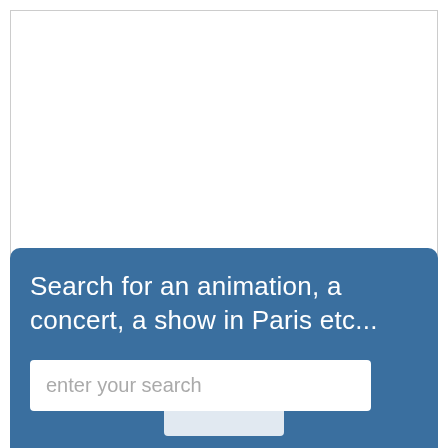Search for an animation, a concert, a show in Paris etc...
enter your search